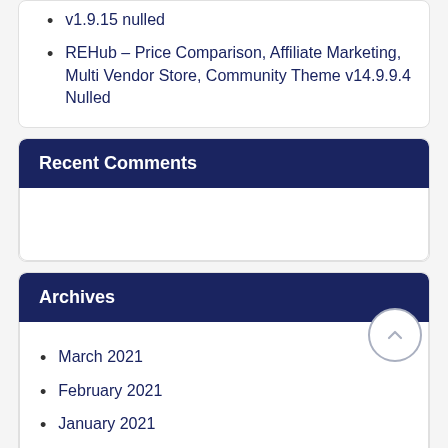v1.9.15 nulled
REHub – Price Comparison, Affiliate Marketing, Multi Vendor Store, Community Theme v14.9.9.4 Nulled
Recent Comments
Archives
March 2021
February 2021
January 2021
December 2020